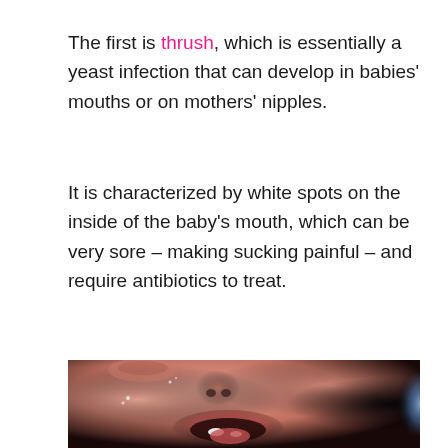The first is thrush, which is essentially a yeast infection that can develop in babies' mouths or on mothers' nipples.
It is characterized by white spots on the inside of the baby's mouth, which can be very sore – making sucking painful – and require antibiotics to treat.
[Figure (photo): Close-up photograph of a crying baby's face showing open mouth, with visible white spots consistent with thrush, dark background on right side, and blue orb visible at right edge.]